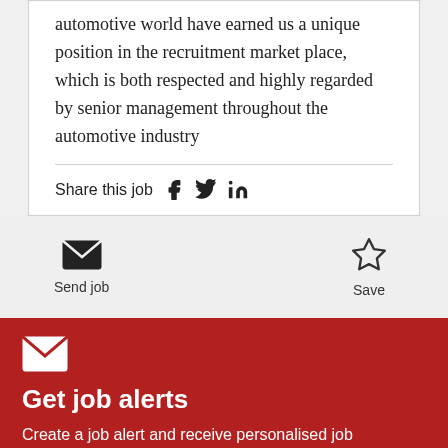automotive world have earned us a unique position in the recruitment market place, which is both respected and highly regarded by senior management throughout the automotive industry
Share this job
Send job
Save
Get job alerts
Create a job alert and receive personalised job recommendations straight to your inbox.